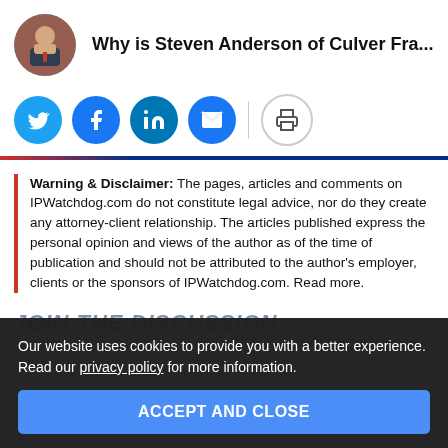Why is Steven Anderson of Culver Fra...
[Figure (infographic): Social sharing buttons: Twitter, Facebook, LinkedIn, Email, Print]
Warning & Disclaimer: The pages, articles and comments on IPWatchdog.com do not constitute legal advice, nor do they create any attorney-client relationship. The articles published express the personal opinion and views of the author as of the time of publication and should not be attributed to the author's employer, clients or the sponsors of IPWatchdog.com. Read more.
JOIN THE DISCUSSION
Our website uses cookies to provide you with a better experience. Read our privacy policy for more information.
ACCEPT AND CLOSE